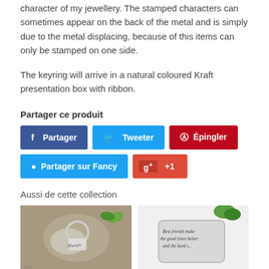character of my jewellery. The stamped characters can sometimes appear on the back of the metal and is simply due to the metal displacing, because of this items can only be stamped on one side.
The keyring will arrive in a natural coloured Kraft presentation box with ribbon.
Partager ce produit
[Figure (infographic): Social share buttons: Partager (Facebook), Tweeter (Twitter), Épingler (Pinterest), Partager sur Fancy, Google+1]
Aussi de cette collection
[Figure (photo): Photo of a keyring with handwritten 'Always' text on a nature background]
[Figure (photo): Photo of a keyring with 'Best friends make the good times better and the hard t...' text]